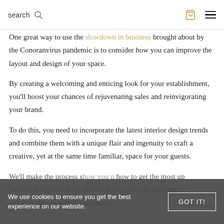search [search icon] [cart icon] [menu icon]
One great way to use the slowdown in business brought about by the Conoranvirus pandemic is to consider how you can improve the layout and design of your space.
By creating a welcoming and enticing look for your establishment, you'll boost your chances of rejuvenating sales and reinvigorating your brand.
To do this, you need to incorporate the latest interior design trends and combine them with a unique flair and ingenuity to craft a creative, yet at the same time familiar, space for your guests.
We'll make the process show you p how to get the most up interior design trends in 2020 and how you can use them to enhance your hospitality business.
We use cookies to ensure you get the best experience on our website.
GOT IT!